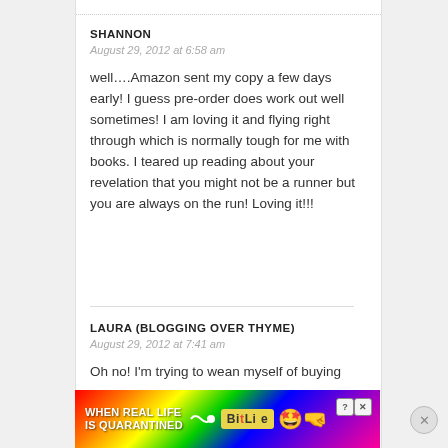SHANNON
August 29, 2012 at 6:58 am
well….Amazon sent my copy a few days early! I guess pre-order does work out well sometimes! I am loving it and flying right through which is normally tough for me with books. I teared up reading about your revelation that you might not be a runner but you are always on the run! Loving it!!!
LAURA (BLOGGING OVER THYME)
August 29, 2012 at 7:41 am
Oh no! I'm trying to wean myself of buying
[Figure (infographic): BitLife advertisement banner with rainbow background, 'WHEN REAL LIFE IS QUARANTINED' text, BitLife logo, star-eyes emoji with mask, and thumbs up emoji]